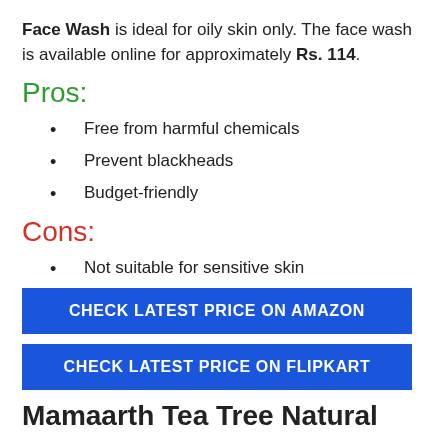Face Wash is ideal for oily skin only. The face wash is available online for approximately Rs. 114.
Pros:
Free from harmful chemicals
Prevent blackheads
Budget-friendly
Cons:
Not suitable for sensitive skin
CHECK LATEST PRICE ON AMAZON
CHECK LATEST PRICE ON FLIPKART
Mamaarth Tea Tree Natural